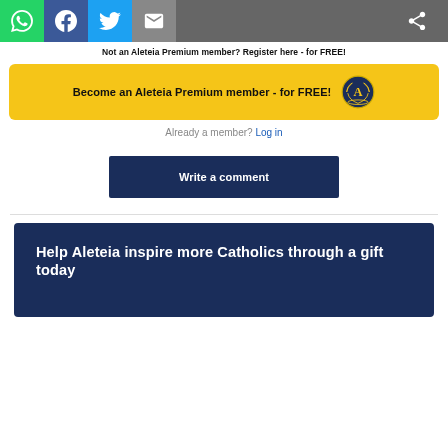[Figure (other): Social share toolbar with WhatsApp, Facebook, Twitter, Email, and Share buttons]
Not an Aleteia Premium member? Register here - for FREE!
Become an Aleteia Premium member - for FREE!
Already a member? Log in
Write a comment
Help Aleteia inspire more Catholics through a gift today